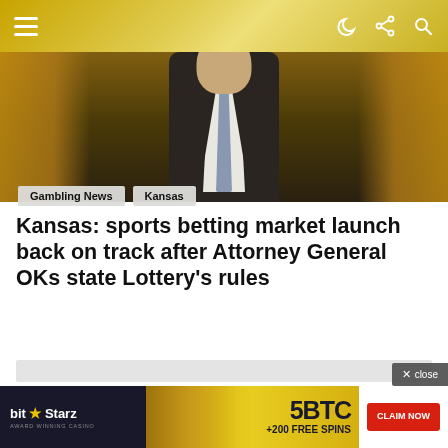Navigation header with menu icon and action icons
[Figure (photo): Man in dark suit with grey tie, outdoor background with autumn foliage]
Gambling News   Kansas
Kansas: sports betting market launch back on track after Attorney General OKs state Lottery's rules
[Figure (other): Advertisement placeholder grey box]
[Figure (other): BitStarz casino banner ad: 5BTC +200 FREE SPINS CLAIM NOW]